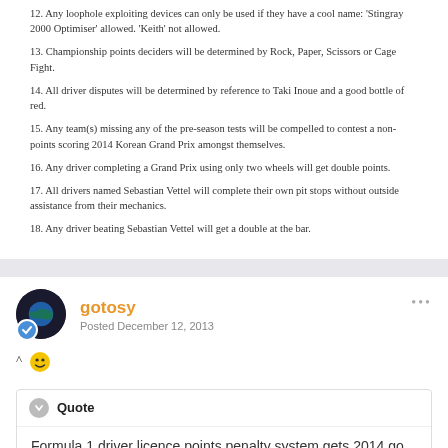12. Any loophole exploiting devices can only be used if they have a cool name: 'Stingray 2000 Optimiser' allowed. 'Keith' not allowed.
13. Championship points deciders will be determined by Rock, Paper, Scissors or Cage Fight.
14. All driver disputes will be determined by reference to Taki Inoue and a good bottle of red.
15. Any team(s) missing any of the pre-season tests will be compelled to contest a non-points scoring 2014 Korean Grand Prix amongst themselves.
16. Any driver completing a Grand Prix using only two wheels will get double points.
17. All drivers named Sebastian Vettel will complete their own pit stops without outside assistance from their mechanics.
18. Any driver beating Sebastian Vettel will get a double at the bar.
^ 😁
gotosy
Posted December 12, 2013
Quote
Formula 1 driver licence points penalty system gets 2014 go ahead